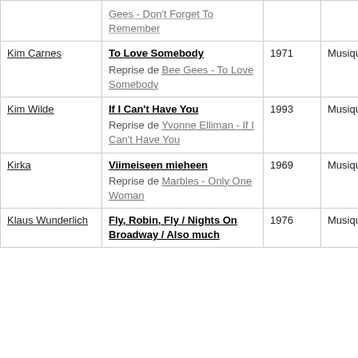| Artist | Song | Year | Type |
| --- | --- | --- | --- |
|  | Gees - Don't Forget To Remember |  |  |
| Kim Carnes | To Love Somebody
Reprise de Bee Gees - To Love Somebody | 1971 | Musique/Texte |
| Kim Wilde | If I Can't Have You
Reprise de Yvonne Elliman - If I Can't Have You | 1993 | Musique/Texte |
| Kirka | Viimeiseen mieheen
Reprise de Marbles - Only One Woman | 1969 | Musique/Texte |
| Klaus Wunderlich | Fly, Robin, Fly / Nights On Broadway / Also much | 1976 | Musique/Texte |